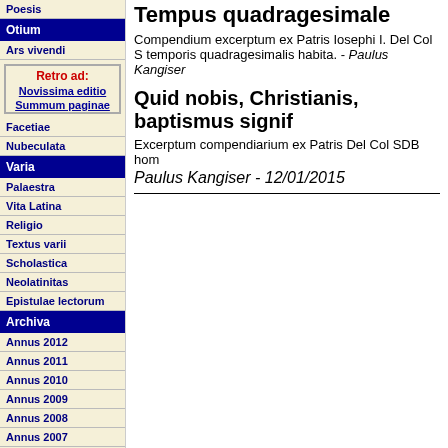Poesis
Otium
Ars vivendi
Retro ad: Novissima editio Summum paginae
Facetiae
Nubeculata
Varia
Palaestra
Vita Latina
Religio
Textus varii
Scholastica
Neolatinitas
Epistulae lectorum
Archiva
Annus 2012
Annus 2011
Annus 2010
Annus 2009
Annus 2008
Annus 2007
Annus 2006
Annus 2005
Annus 2004
Tempus quadragesimale
Compendium excerptum ex Patris Iosephi I. Del Col S temporis quadragesimalis habita. - Paulus Kangiser
Quid nobis, Christianis, baptismus signif
Excerptum compendiarium ex Patris Del Col SDB hom
Paulus Kangiser - 12/01/2015